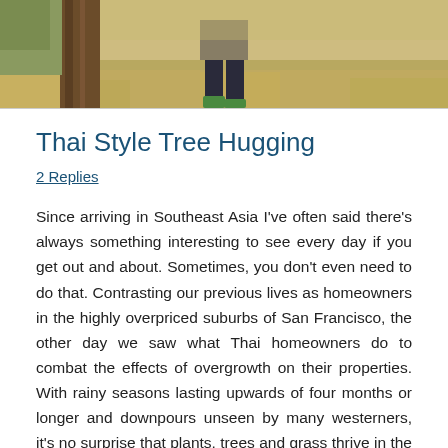[Figure (photo): Top portion of a photo showing a person standing near a tree in a dry grassy landscape, only the lower body/legs visible]
Thai Style Tree Hugging
2 Replies
Since arriving in Southeast Asia I've often said there's always something interesting to see every day if you get out and about. Sometimes, you don't even need to do that. Contrasting our previous lives as homeowners in the highly overpriced suburbs of San Francisco, the other day we saw what Thai homeowners do to combat the effects of overgrowth on their properties. With rainy seasons lasting upwards of four months or longer and downpours unseen by many westerners, it's no surprise that plants, trees and grass thrive in the tropics. But unlike our previous privileged life in the East Bay hills of suburban San Francisco, people don't